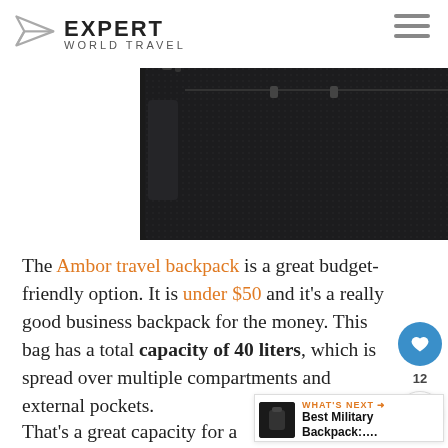EXPERT WORLD TRAVEL
[Figure (photo): Close-up of a black Ambor travel backpack showing zipper, shoulder strap clip, and side detail with a reflective strip on a white background.]
The Ambor travel backpack is a great budget-friendly option. It is under $50 and it's a really good business backpack for the money. This bag has a total capacity of 40 liters, which is spread over multiple compartments and external pockets.
That's a great capacity for a carry-on. In fact, it is as much as you would get in a